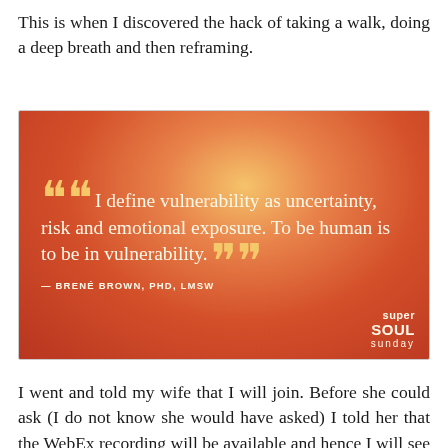This is when I discovered the hack of taking a walk, doing a deep breath and then reframing.
[Figure (illustration): Orange/red textured background with a quote by Brené Brown, PHD, LMSW reading: 'I define vulnerability as uncertainty, risk and emotional exposure. To be human is to be in vulnerability.' with decorative quotation marks in gold/yellow. Super Soul Sunday logo in bottom right.]
I went and told my wife that I will join. Before she could ask (I do not know she would have asked) I told her that the WebEx recording will be available and hence I will see that later. The best part was I